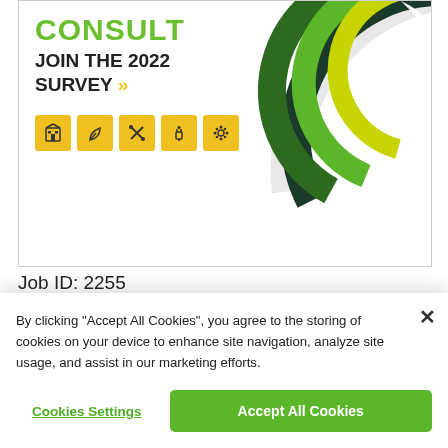[Figure (infographic): Consulting survey banner with 'JOIN THE 2022 SURVEY >>' text, colored gear/circle graphic on right, and five yellow icon boxes at bottom (building, leaf, tools, plug, gear)]
Job ID: 2255
[Figure (screenshot): Dark navigation bar section of a website]
[Figure (screenshot): Modal dialog top showing close X button and a small green icon]
By clicking "Accept All Cookies", you agree to the storing of cookies on your device to enhance site navigation, analyze site usage, and assist in our marketing efforts.
Cookies Settings
Accept All Cookies